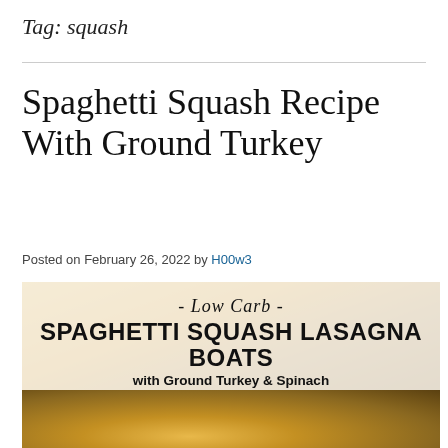Tag: squash
Spaghetti Squash Recipe With Ground Turkey
Posted on February 26, 2022 by H00w3
[Figure (photo): Food photo of spaghetti squash lasagna boats with overlay text reading '- Low Carb - SPAGHETTI SQUASH LASAGNA BOATS with Ground Turkey & Spinach']